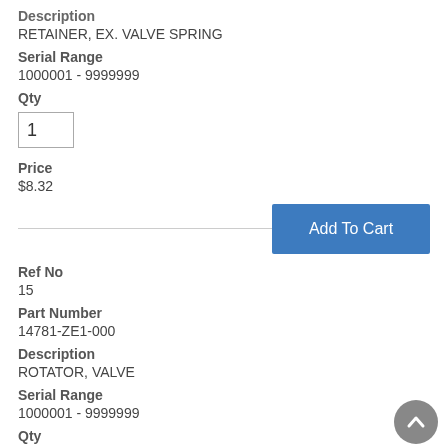Description
RETAINER, EX. VALVE SPRING
Serial Range
1000001 - 9999999
Qty
1
Price
$8.32
Ref No
15
Part Number
14781-ZE1-000
Description
ROTATOR, VALVE
Serial Range
1000001 - 9999999
Qty
1